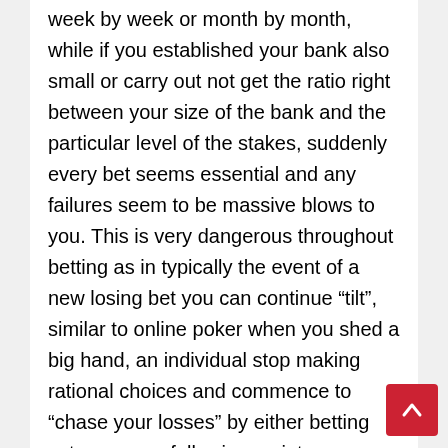week by week or month by month, while if you established your bank also small or carry out not get the ratio right between your size of the bank and the particular level of the stakes, suddenly every bet seems essential and any failures seem to be massive blows to you. This is very dangerous throughout betting as in typically the event of a new losing bet you can continue “tilt”, similar to online poker when you shed a big hand, an individual stop making rational choices and commence to “chase your losses” by either betting extra on your following variety or even more serious placing a total “gamble” bet on some thing you might have not carefully researched.
I was sure it has happened to all of us however